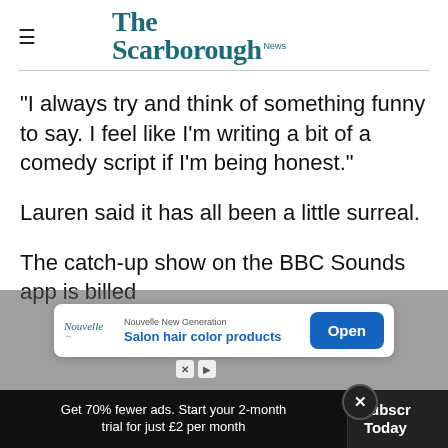The Scarborough News
“I always try and think of something funny to say. I feel like I’m writing a bit of a comedy script if I’m being honest.”
Lauren said it has all been a little surreal.
The catch-up show on the BBC Sounds app is billed… from Scarb…
[Figure (screenshot): Advertisement overlay: Nouvelle New Generation Salon hair color products with Open button]
Get 70% fewer ads. Start your 2-month trial for just £2 per month
Subscribe Today